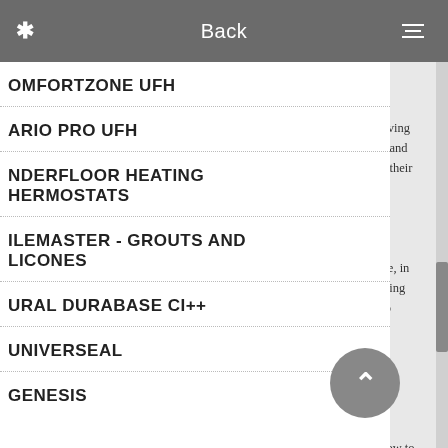Back
COMFORTZONE UFH
NARIO PRO UFH
UNDERFLOOR HEATING THERMOSTATS
TILEMASTER - GROUTS AND SILICONES
DURAL DURABASE CI++
UNIVERSEAL
GENESIS
hey view it as a living : about their taste and ustomers achieve their
at you need rea of your y using tant role, in cookies. ell as being should also
les are the e so many of cleaning that perfect e and the know-how to
you h the kind of selection erfect bathroom. You n by choosing from our ours and designs of all